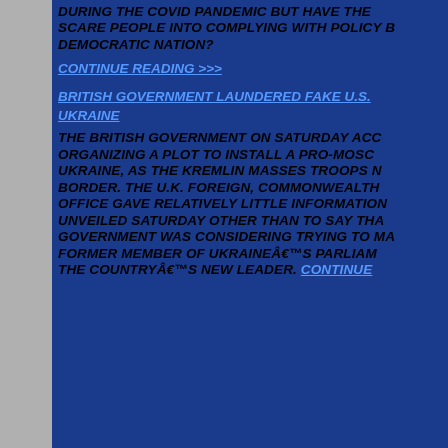DURING THE COVID PANDEMIC BUT HAVE THE SCARE PEOPLE INTO COMPLYING WITH POLICY B DEMOCRATIC NATION?
CONTINUE READING >>>
BRITISH GOVERNMENT LAUNDERED FAKE U.S. UKRAINE
THE BRITISH GOVERNMENT ON SATURDAY ACCUSED RUSSIA OF ORGANIZING A PLOT TO INSTALL A PRO-MOSCOW LEADER IN UKRAINE, AS THE KREMLIN MASSES TROOPS NEAR ITS BORDER. THE U.K. FOREIGN, COMMONWEALTH AND DEVELOPMENT OFFICE GAVE RELATIVELY LITTLE INFORMATION ON THE PLAN IT UNVEILED SATURDAY OTHER THAN TO SAY THAT THE RUSSIAN GOVERNMENT WAS CONSIDERING TRYING TO MAKE A FORMER MEMBER OF UKRAINEâ€™S PARLIAMENT THE COUNTRYâ€™S NEW LEADER. CONTINUE